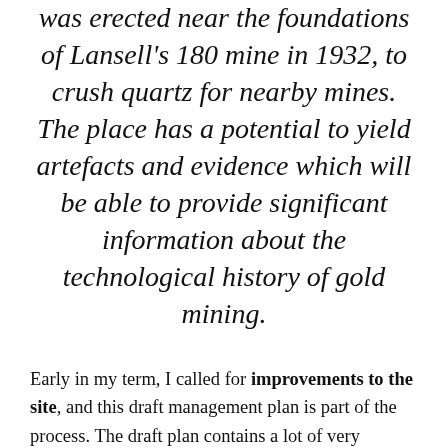was erected near the foundations of Lansell's 180 mine in 1932, to crush quartz for nearby mines. The place has a potential to yield artefacts and evidence which will be able to provide significant information about the technological history of gold mining.
Early in my term, I called for improvements to the site, and this draft management plan is part of the process. The draft plan contains a lot of very interesting information on the history of the site, and also includes the fact that there was a site management plan prepared in 1993.